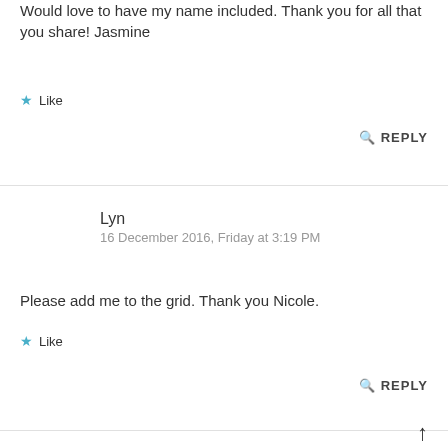Would love to have my name included. Thank you for all that you share! Jasmine
★ Like
REPLY
Lyn
16 December 2016, Friday at 3:19 PM
Please add me to the grid. Thank you Nicole.
★ Like
REPLY